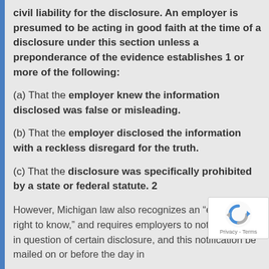civil liability for the disclosure. An employer is presumed to be acting in good faith at the time of a disclosure under this section unless a preponderance of the evidence establishes 1 or more of the following:
(a) That the employer knew the information disclosed was false or misleading.
(b) That the employer disclosed the information with a reckless disregard for the truth.
(c) That the disclosure was specifically prohibited by a state or federal statute. 2
However, Michigan law also recognizes an “employee right to know,” and requires employers to notif individual in question of certain disclosure, and this notification be mailed on or before the day in